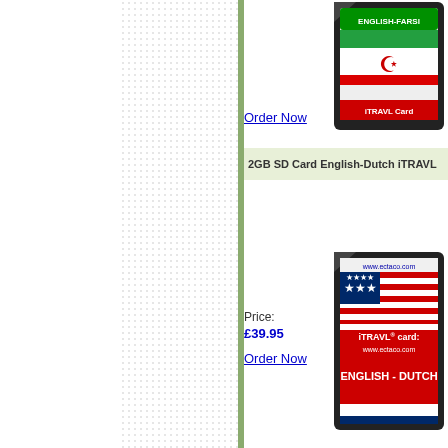[Figure (photo): SD card with English-Farsi iTRAVL label showing Iranian flag]
Order Now
2GB SD Card English-Dutch iTRAVL
[Figure (photo): SD card with English-Dutch iTRAVL label showing US and Dutch flags]
Price: £39.95
Order Now